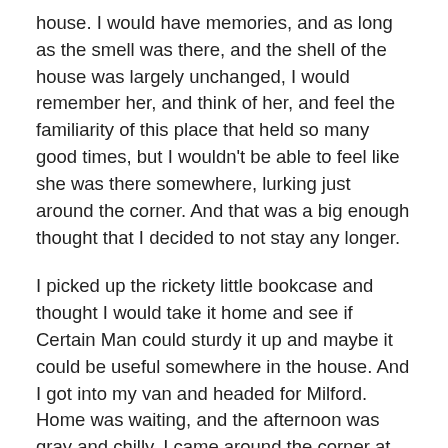house.  I would have memories, and as long as the smell was there, and the shell of the house was largely unchanged, I would remember her, and think of her, and feel the familiarity of this place that held so many good times, but I wouldn't be able to feel like she was there somewhere, lurking just around the corner.  And that was a big enough thought that I decided to not stay any longer.

I picked up the rickety little bookcase and thought I would take it home and see if Certain Man could sturdy it up and maybe it could be useful somewhere in the house.  And I got into my van and headed for Milford.  Home was waiting, and the afternoon was gray and chilly.  I came around the corner at 36 and 16 and considered stopping at Mama's grave.  When all was quiet at Greenwood Mennonite Church and there were no cars in the parking lot, I pulled in and parked beside the brick steps going into